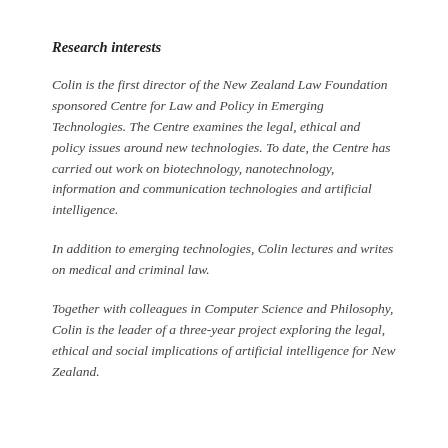Research interests
Colin is the first director of the New Zealand Law Foundation sponsored Centre for Law and Policy in Emerging Technologies. The Centre examines the legal, ethical and policy issues around new technologies. To date, the Centre has carried out work on biotechnology, nanotechnology, information and communication technologies and artificial intelligence.
In addition to emerging technologies, Colin lectures and writes on medical and criminal law.
Together with colleagues in Computer Science and Philosophy, Colin is the leader of a three-year project exploring the legal, ethical and social implications of artificial intelligence for New Zealand.